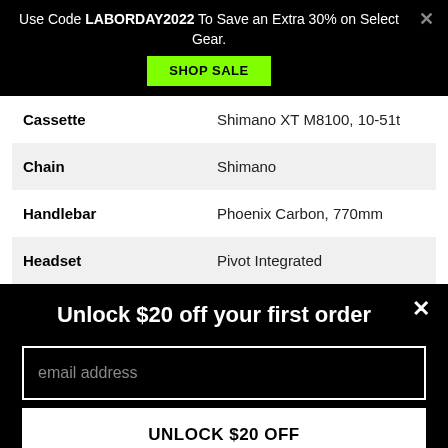Use Code LABORDAY2022 To Save an Extra 30% on Select Gear. SHOP SALE
| Component | Specification |
| --- | --- |
| Cassette | Shimano XT M8100, 10-51t |
| Chain | Shimano |
| Handlebar | Phoenix Carbon, 770mm |
| Headset | Pivot Integrated |
Unlock $20 off your first order
email address
UNLOCK $20 OFF
*Valid for one-time use on new accounts